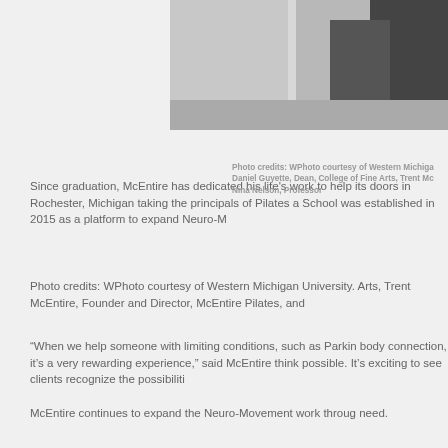[Figure (photo): Partial photo showing two people near a wall/door, cropped at top of page]
Photo credits: WPhoto courtesy of Western Michigan University. Daniel Guyette, Dean, College of Fine Arts, Trent Mc Nina Nelson, Professor
Since graduation, McEntire has dedicated his life's work to help its doors in Rochester, Michigan taking the principals of Pilates a School was established in 2015 as a platform to expand Neuro-M
Photo credits: WPhoto courtesy of Western Michigan University. Arts, Trent McEntire, Founder and Director, McEntire Pilates, and
“When we help someone with limiting conditions, such as Parkin body connection, it’s a very rewarding experience,” said McEntire think possible. It’s exciting to see clients recognize the possibiliti
McEntire continues to expand the Neuro-Movement work throug need.